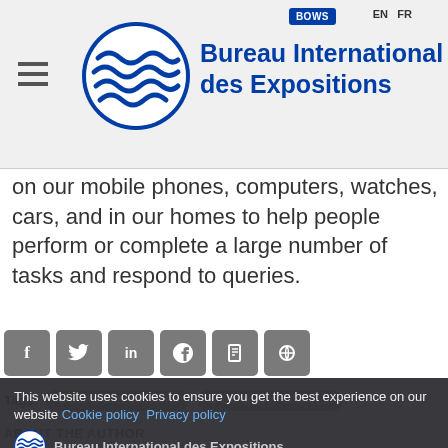Bureau International des Expositions | BOWS | EN | FR
on our mobile phones, computers, watches, cars, and in our homes to help people perform or complete a large number of tasks and respond to queries.
[Figure (infographic): Row of social media share buttons: Facebook, Twitter, LinkedIn, Pinterest, and two more icon buttons in grey rounded squares]
Tags: EXPO INNOVATIONS  EXPO 1962 SEATTLE
ABOUT THE AUTHOR
[Figure (screenshot): Cookie consent banner overlay with dark background. Text: 'This website uses cookies to ensure you get the best experience on our website Cookie policy Privacy policy'. BIE logo and name shown. Buttons: 'View author's profile', 'More posts from author', 'Decline', 'Allow'. Cookies Settings with checkboxes: Necessary, Preferences, Statistics. Bottom text: 'The Bureau International des Expositions (BIE) is the intergovernmental organisation in charge of overseeing and regulating World Expos. Specialised']